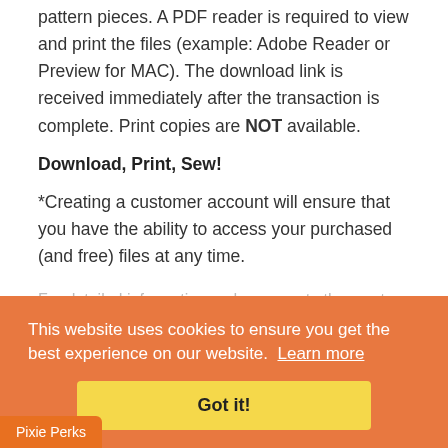pattern pieces. A PDF reader is required to view and print the files (example: Adobe Reader or Preview for MAC). The download link is received immediately after the transaction is complete. Print copies are NOT available.
Download, Print, Sew!
*Creating a customer account will ensure that you have the ability to access your purchased (and free) files at any time.
For detailed information and answers to the most common questions, be sure to read the Terms of Use and FAQ's related to the doll clothes patterns sold at Pixie Faire.
aire and the designers featured are not
This website uses cookies to ensure you get the best experience on our website. Learn more
Got it!
Pixie Perks